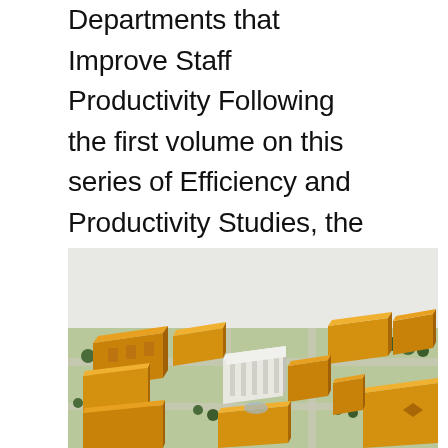Departments that Improve Staff Productivity Following the first volume on this series of Efficiency and Productivity Studies, the obvious question remains, "What would a highly efficient and...
[Figure (illustration): Aerial 3D rendering of a government or institutional campus complex with multiple yellow/orange buildings and one white classical building at the center, surrounded by green trees and roads.]